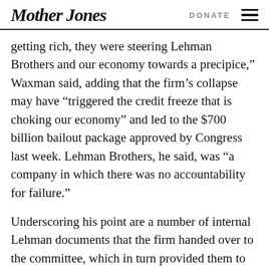Mother Jones | DONATE
getting rich, they were steering Lehman Brothers and our economy towards a precipice,” Waxman said, adding that the firm’s collapse may have “triggered the credit freeze that is choking our economy” and led to the $700 billion bailout package approved by Congress last week. Lehman Brothers, he said, was “a company in which there was no accountability for failure.”
Underscoring his point are a number of internal Lehman documents that the firm handed over to the committee, which in turn provided them to the press. One of them is a June 3, 2008, email from executives at Neuberger Berman, Lehman’s money manager, advising...